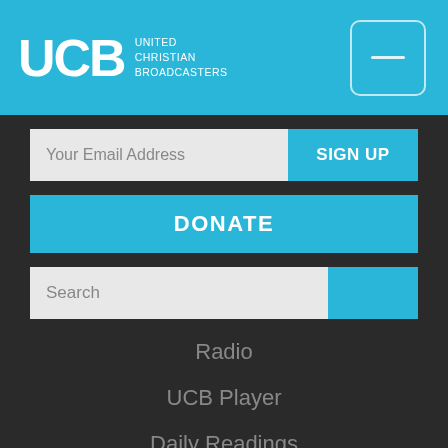[Figure (logo): UCB - United Christian Broadcasters logo with navigation menu icon button, on a cyan/blue header background]
Your Email Address
SIGN UP
DONATE
Search
Radio
UCB Player
Daily Readings
News
Foundation